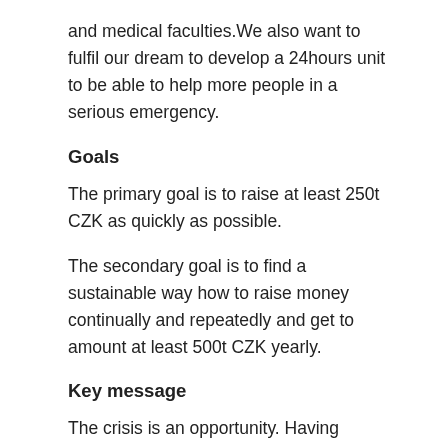and medical faculties.We also want to fulfil our dream to develop a 24hours unit to be able to help more people in a serious emergency.
Goals
The primary goal is to raise at least 250t CZK as quickly as possible.
The secondary goal is to find a sustainable way how to raise money continually and repeatedly and get to amount at least 500t CZK yearly.
Key message
The crisis is an opportunity. Having abnormal experiences is normal. Processing such experience